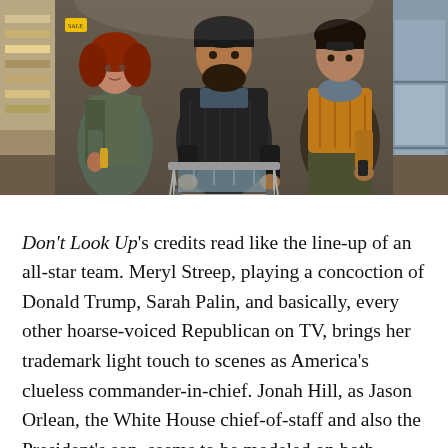[Figure (photo): Three people walking through a supermarket aisle. On the left, a woman with red hair wearing a grey-green jacket over a striped sweater. In the center, a bearded man in a dark jacket pushing a shopping cart. On the right, a young man in a yellow/tan puffer jacket over camouflage clothing. Store shelves and refrigerator cases visible in background.]
Don't Look Up's credits read like the line-up of an all-star team. Meryl Streep, playing a concoction of Donald Trump, Sarah Palin, and basically, every other hoarse-voiced Republican on TV, brings her trademark light touch to scenes as America's clueless commander-in-chief. Jonah Hill, as Jason Orlean, the White House chief-of-staff and also the President's son, seems to be modeled on both Ivanka Trump and Jared Kushner. There are terrific cameos by Ariana Grande and Scott